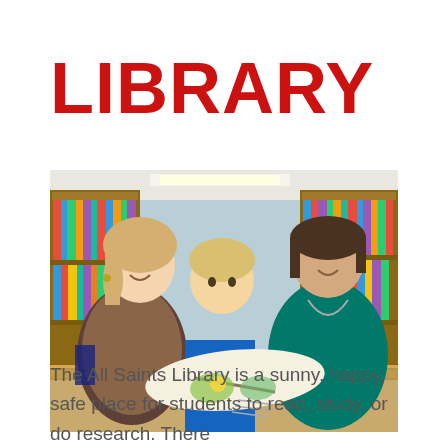LIBRARY
[Figure (photo): Two women and a young blonde boy sitting at a library table looking at a large picture book together, with bookshelves visible in the background.]
The All Saints Library is a sunny, happy, safe place for students to read, study, or do research.  There